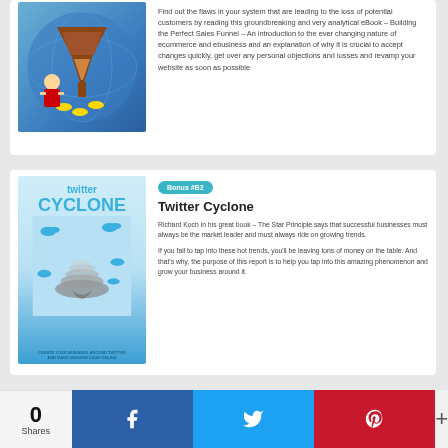[Figure (illustration): Sales funnel ebook cover with cartoon businessman and coins]
Find out the flaws in your system that are leading to the loss of potential customers by reading this groundbreaking and very analytical eBook – Building the Perfect Sales Funnel – An introduction to the ever changing nature of ecommerce and ebusiness and an explanation of why it is crucial to accept changes quickly, get over any personal objections and losses and revamp your website as soon as possible
[Figure (illustration): Twitter Cyclone ebook cover with Twitter birds and tornado graphic]
Bonus #B2
Twitter Cyclone
Richard Koch in his great book – The Star Principle says that successful businesses must always be the market leader and must always ride on growing trends.
If you fail to tap into these hot trends, you'll be leaving tons of money on the table. And that's why, the purpose of this report is to help you tap into this amazing phenomenon and grow your business around it.
[Figure (illustration): Social Media Tips and Tricks ebook cover with social media icons]
Bonus #B3
Social Media Tips and Tricks